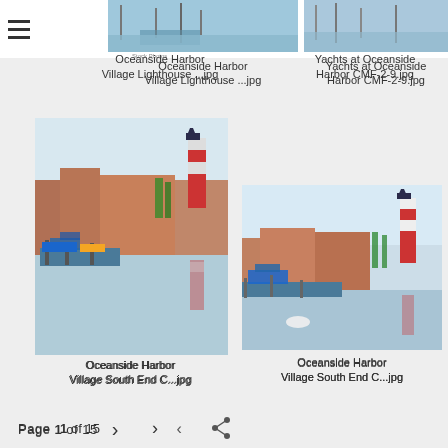[Figure (screenshot): Stock photo website gallery page showing harbor images. Top bar with hamburger menu, OC Stock Photos and SoCal logos. Four thumbnail images of Oceanside Harbor with lighthouse. Page navigation at bottom.]
Oceanside Harbor Village Lighthouse ...jpg
Yachts at Oceanside Harbor CMF-2-9.jpg
Oceanside Harbor Village South End C...jpg
Oceanside Harbor Village South End C...jpg
Page 1 of 15